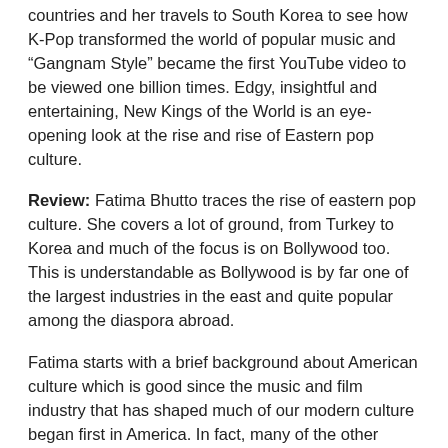countries and her travels to South Korea to see how K-Pop transformed the world of popular music and “Gangnam Style” became the first YouTube video to be viewed one billion times. Edgy, insightful and entertaining, New Kings of the World is an eye-opening look at the rise and rise of Eastern pop culture.
Review: Fatima Bhutto traces the rise of eastern pop culture. She covers a lot of ground, from Turkey to Korea and much of the focus is on Bollywood too. This is understandable as Bollywood is by far one of the largest industries in the east and quite popular among the diaspora abroad.
Fatima starts with a brief background about American culture which is good since the music and film industry that has shaped much of our modern culture began first in America. In fact, many of the other industries merely copied much of American culture. Some even went overboard in their zealousness to become American.
“America’s popular culture was not universally appealing, but for many decades, it was the only global pop culture available.”